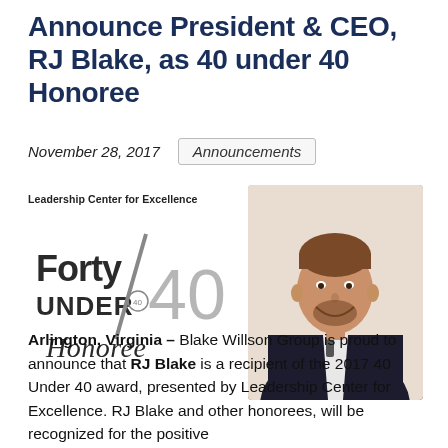Announce President & CEO, RJ Blake, as 40 under 40 Honoree
November 28, 2017
Announcements
[Figure (logo): Leadership Center for Excellence Forty Under 40 Honoree logo]
[Figure (photo): Photo of RJ Blake smiling in a dark suit]
Arlington, Virginia – Blake Willson Group is proud to announce that RJ Blake is a recipient of the 2017 40 Under 40 award, presented by Leadership Center for Excellence. RJ Blake and other honorees, will be recognized for the positive